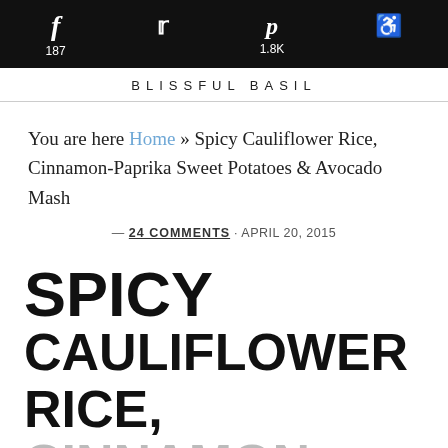f 187 [twitter icon] p 1.8K [reddit icon]
BLISSFUL BASIL
You are here Home » Spicy Cauliflower Rice, Cinnamon-Paprika Sweet Potatoes & Avocado Mash
— 24 COMMENTS · APRIL 20, 2015
SPICY CAULIFLOWER RICE, CINNAMON- PAPRIKA SWEET